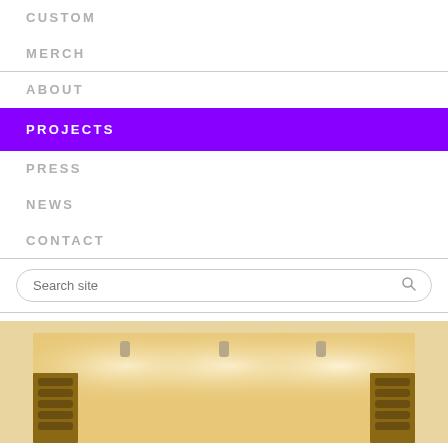CUSTOM
MERCH
ABOUT
PROJECTS
PRESS
NEWS
CONTACT
Search site
[Figure (photo): Interior photo of a wine cellar with warm lighting showing ceiling spotlights illuminating wine bottle racks]